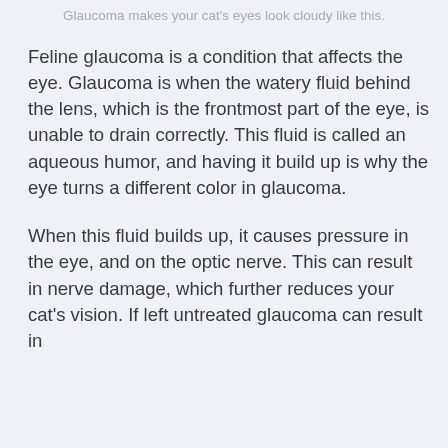Glaucoma makes your cat's eyes look cloudy like this.
Feline glaucoma is a condition that affects the eye. Glaucoma is when the watery fluid behind the lens, which is the frontmost part of the eye, is unable to drain correctly. This fluid is called an aqueous humor, and having it build up is why the eye turns a different color in glaucoma.
When this fluid builds up, it causes pressure in the eye, and on the optic nerve. This can result in nerve damage, which further reduces your cat's vision. If left untreated glaucoma can result in